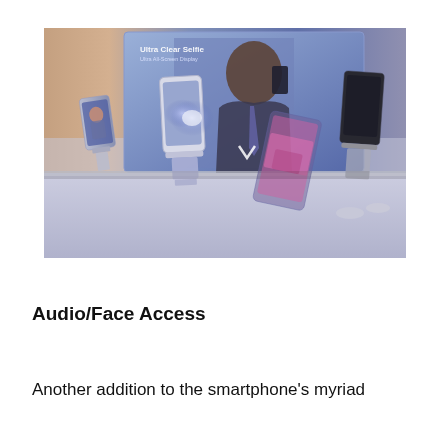[Figure (photo): A product display table showing multiple smartphones in stands, with a large advertisement banner in the background featuring a man in a suit holding a phone and text 'Ultra Clear Selfie'. The scene is lit with blue tones and shows several phones on display holders.]
Audio/Face Access
Another addition to the smartphone's myriad